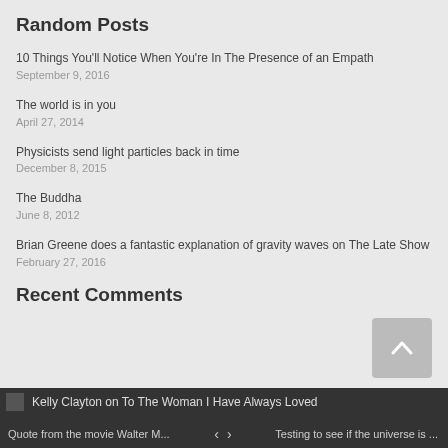Random Posts
10 Things You'll Notice When You're In The Presence of an Empath
September 9, 2016
The world is in you
April 27, 2014
Physicists send light particles back in time
December 8, 2015
The Buddha
June 8, 2012
Brian Greene does a fantastic explanation of gravity waves on The Late Show
February 27, 2016
Recent Comments
Kelly Clayton on To The Woman I Have Always Loved
Quote from the movie Walter M...
Testing to see if the universe is ...